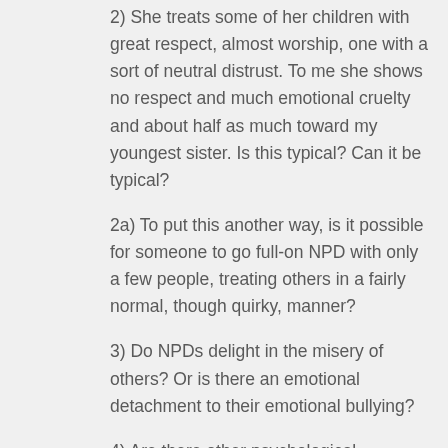2) She treats some of her children with great respect, almost worship, one with a sort of neutral distrust. To me she shows no respect and much emotional cruelty and about half as much toward my youngest sister. Is this typical? Can it be typical?
2a) To put this another way, is it possible for someone to go full-on NPD with only a few people, treating others in a fairly normal, though quirky, manner?
3) Do NPDs delight in the misery of others? Or is there an emotional detachment to their emotional bullying?
4) Are there other psychological conditions which could relate to this behavior?